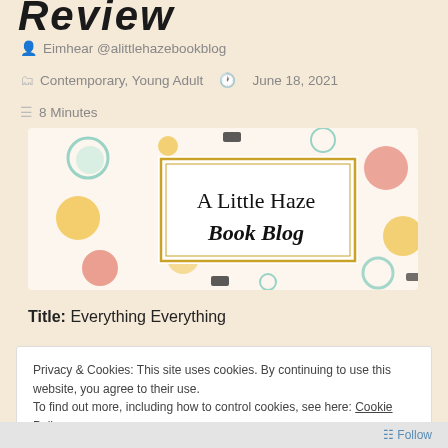Review
Eimhear @alittlehazebookblog
Contemporary, Young Adult   June 18, 2021
8 Minutes
[Figure (logo): A Little Haze Book Blog banner with colorful polka dots and gold-bordered text box]
Title: Everything Everything
Privacy & Cookies: This site uses cookies. By continuing to use this website, you agree to their use.
To find out more, including how to control cookies, see here: Cookie Policy
Close and accept